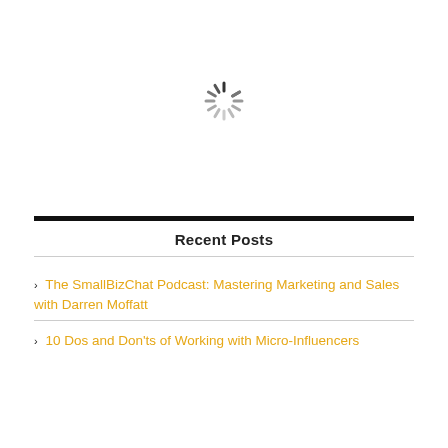[Figure (other): A loading spinner icon (circular dashed spokes pattern) centered in the upper white section of the page]
Recent Posts
The SmallBizChat Podcast: Mastering Marketing and Sales with Darren Moffatt
10 Dos and Don'ts of Working with Micro-Influencers